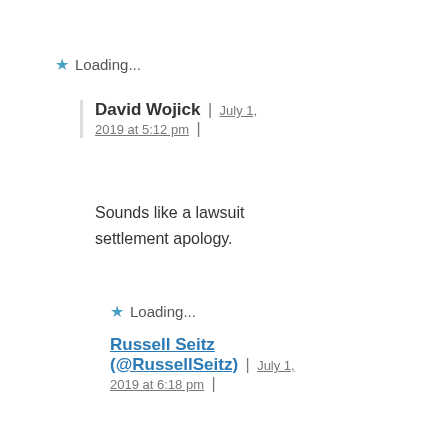Loading...
David Wojick | July 1, 2019 at 5:12 pm |
Sounds like a lawsuit settlement apology.
Loading...
Russell Seitz (@RussellSeitz) | July 1, 2019 at 6:18 pm |
It's headed “Retaction and Apology”
Having written for the losing side in the case, The Frontier Centre for Public Policy and